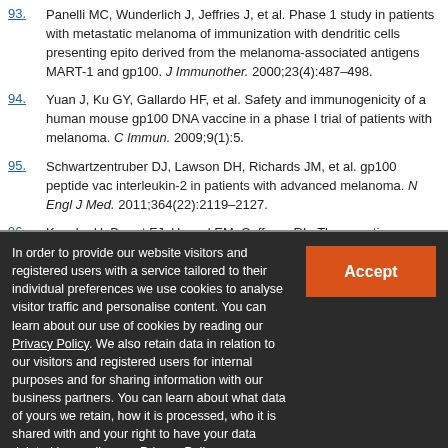93. Panelli MC, Wunderlich J, Jeffries J, et al. Phase 1 study in patients with metastatic melanoma of immunization with dendritic cells presenting epitopes derived from the melanoma-associated antigens MART-1 and gp100. J Immunother. 2000;23(4):487–498.
94. Yuan J, Ku GY, Gallardo HF, et al. Safety and immunogenicity of a human mouse gp100 DNA vaccine in a phase I trial of patients with melanoma. Cancer Immun. 2009;9(1):5.
95. Schwartzentruber DJ, Lawson DH, Richards JM, et al. gp100 peptide vaccine and interleukin-2 in patients with advanced melanoma. N Engl J Med. 2011;364(22):2119–2127.
96. Kanzler H, Barrat FJ, Hessel EM, Coffman RL. Therapeutic targeting of in
In order to provide our website visitors and registered users with a service tailored to their individual preferences we use cookies to analyse visitor traffic and personalise content. You can learn about our use of cookies by reading our Privacy Policy. We also retain data in relation to our visitors and registered users for internal purposes and for sharing information with our business partners. You can learn about what data of yours we retain, how it is processed, who it is shared with and your right to have your data deleted by reading our Privacy Policy. If you agree to our use of cookies and the contents of our Privacy Policy please click 'accept'.